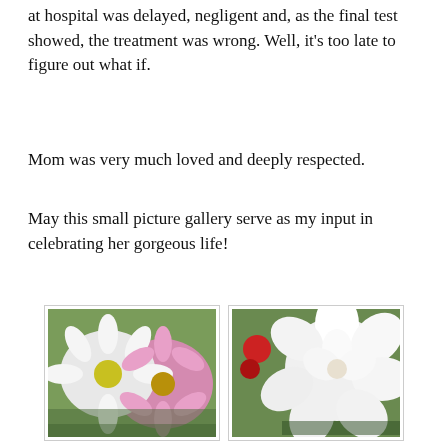at hospital was delayed, negligent and, as the final test showed, the treatment was wrong. Well, it's too late to figure out what if.
Mom was very much loved and deeply respected.
May this small picture gallery serve as my input in celebrating her gorgeous life!
[Figure (photo): Four flower photos arranged in a 2x2 grid: top-left shows white and pink daisies/chrysanthemums, top-right shows a white rose/peony with red flowers and green leaves, bottom-left shows a pink rose with a rosebud, bottom-right shows purple/blue pansies with yellow centers.]